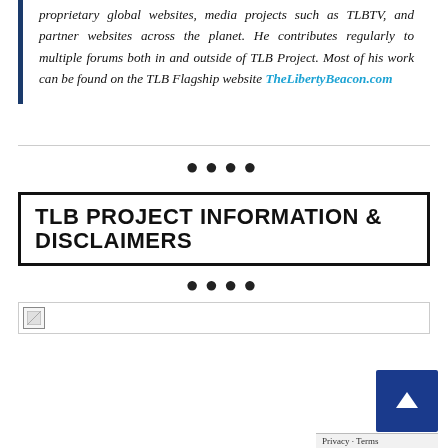proprietary global websites, media projects such as TLBTV, and partner websites across the planet. He contributes regularly to multiple forums both in and outside of TLB Project. Most of his work can be found on the TLB Flagship website TheLibertyBeacon.com
····
TLB PROJECT INFORMATION & DISCLAIMERS
····
[Figure (other): Broken image placeholder with horizontal line]